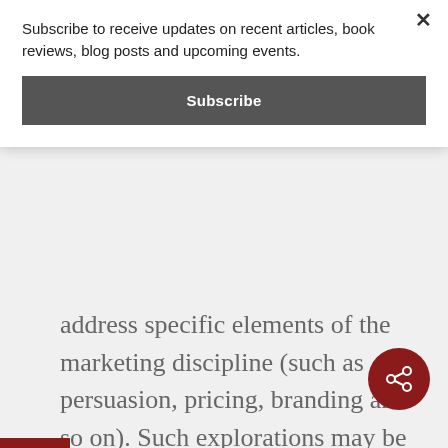Subscribe to receive updates on recent articles, book reviews, blog posts and upcoming events.
Subscribe
address specific elements of the marketing discipline (such as persuasion, pricing, branding and so on). Such explorations may be better as follow-on studies that can be built on the footing established in this paper.
To set the foundation for the